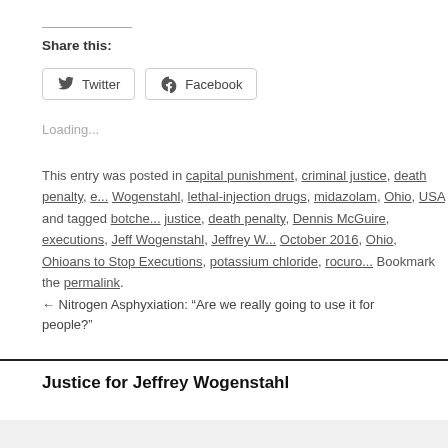Share this:
[Figure (other): Twitter and Facebook share buttons]
Loading...
This entry was posted in capital punishment, criminal justice, death penalty, e... Wogenstahl, lethal-injection drugs, midazolam, Ohio, USA and tagged botche... justice, death penalty, Dennis McGuire, executions, Jeff Wogenstahl, Jeffrey ... October 2016, Ohio, Ohioans to Stop Executions, potassium chloride, rocuro... Bookmark the permalink.
← Nitrogen Asphyxiation: “Are we really going to use it for people?”
Justice for Jeffrey Wogenstahl